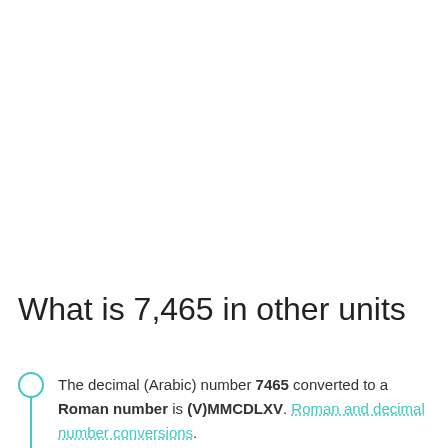What is 7,465 in other units
The decimal (Arabic) number 7465 converted to a Roman number is (V)MMCDLXV. Roman and decimal number conversions.